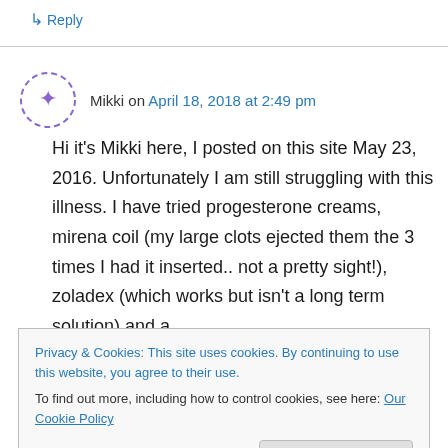↳ Reply
Mikki on April 18, 2018 at 2:49 pm
Hi it's Mikki here, I posted on this site May 23, 2016. Unfortunately I am still struggling with this illness. I have tried progesterone creams, mirena coil (my large clots ejected them the 3 times I had it inserted.. not a pretty sight!), zoladex (which works but isn't a long term solution) and a
Privacy & Cookies: This site uses cookies. By continuing to use this website, you agree to their use.
To find out more, including how to control cookies, see here: Our Cookie Policy
Close and accept
the womb and stop build up. I was always